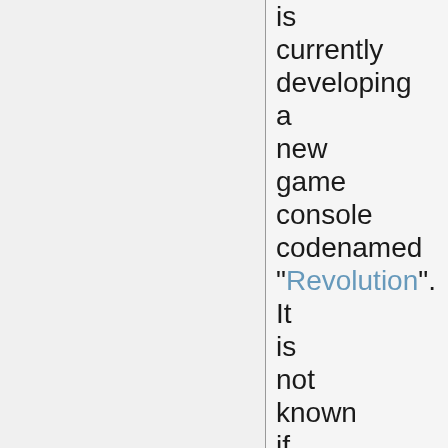is currently developing a new game console codenamed "Revolution". It is not known if this name